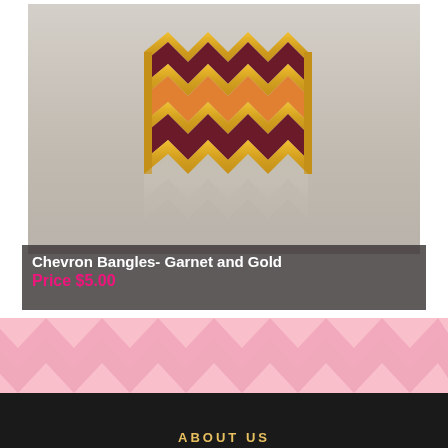[Figure (photo): A gold chevron bangle bracelet with dark burgundy/garnet and orange enamel chevron stripes, shown on a reflective surface]
Chevron Bangles- Garnet and Gold
Price $5.00
[Figure (illustration): Pink and white chevron zigzag pattern decorative band]
ABOUT US